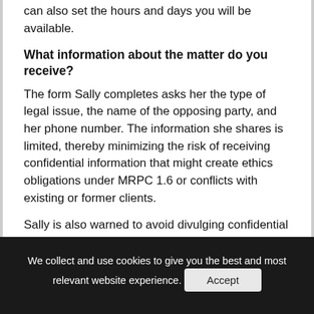can also set the hours and days you will be available.
What information about the matter do you receive?
The form Sally completes asks her the type of legal issue, the name of the opposing party, and her phone number. The information she shares is limited, thereby minimizing the risk of receiving confidential information that might create ethics obligations under MRPC 1.6 or conflicts with existing or former clients.
Sally is also warned to avoid divulging confidential information. The following statement is on the form: "Please do not send confidential or sensitive information. Zeekbeek reminds you that no website,
We collect and use cookies to give you the best and most relevant website experience.